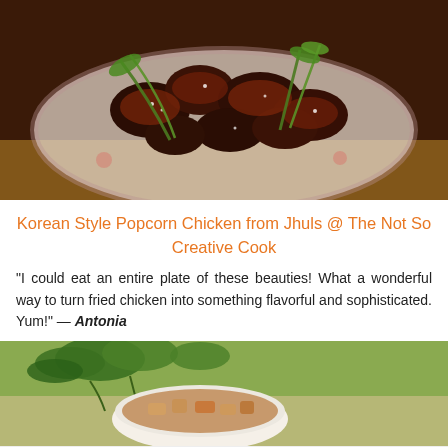[Figure (photo): Korean fried chicken pieces glazed in dark sauce, garnished with green onions and sesame seeds, served on a floral plate]
Korean Style Popcorn Chicken from Jhuls @ The Not So Creative Cook
“I could eat an entire plate of these beauties! What a wonderful way to turn fried chicken into something flavorful and sophisticated. Yum!” — Antonia
[Figure (photo): Bowl of soup with vegetables and a white cloth with stripes in the background, garnished with fresh parsley]
Twitter share button, Pinterest 2, Facebook 9, Share 11 SHARES